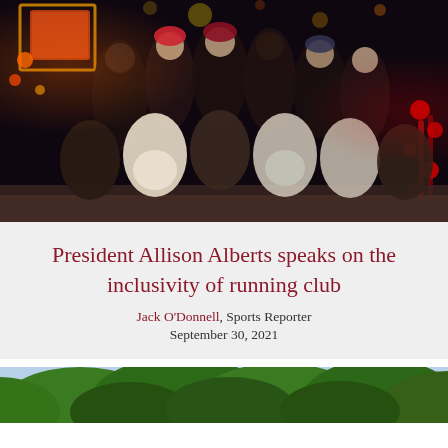[Figure (photo): Group photo of running club members posing together at night in front of Christmas lights and holiday decorations.]
President Allison Alberts speaks on the inclusivity of running club
Jack O'Donnell, Sports Reporter
September 30, 2021
[Figure (photo): Partial photo showing green trees against a sky background, bottom of page.]